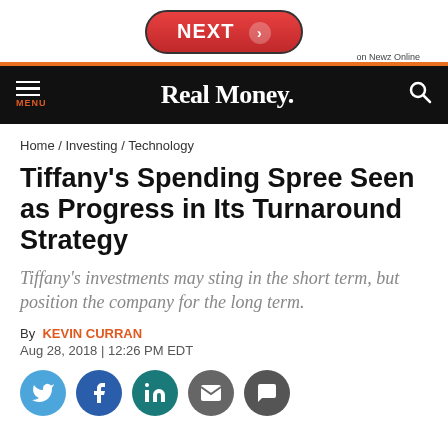[Figure (screenshot): NEXT button on Newz Online navigation banner, red pill-shaped button with arrow]
Real Money.
Home / Investing / Technology
Tiffany's Spending Spree Seen as Progress in Its Turnaround Strategy
Tiffany's investments may sting in the short term, but position the company for the long term.
By KEVIN CURRAN
Aug 28, 2018 | 12:26 PM EDT
[Figure (infographic): Social media share buttons: Twitter, Facebook, LinkedIn, Email, Comment]